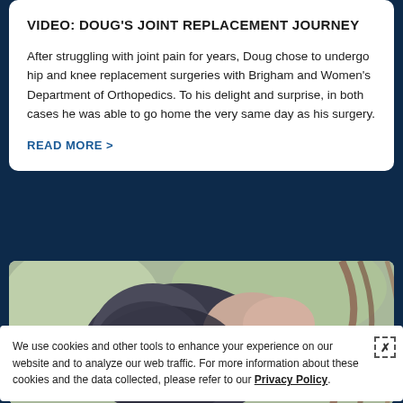VIDEO: DOUG'S JOINT REPLACEMENT JOURNEY
After struggling with joint pain for years, Doug chose to undergo hip and knee replacement surgeries with Brigham and Women's Department of Orthopedics. To his delight and surprise, in both cases he was able to go home the very same day as his surgery.
READ MORE >
[Figure (photo): Close-up photo of a person's knee being held, showing joint area]
We use cookies and other tools to enhance your experience on our website and to analyze our web traffic. For more information about these cookies and the data collected, please refer to our Privacy Policy.